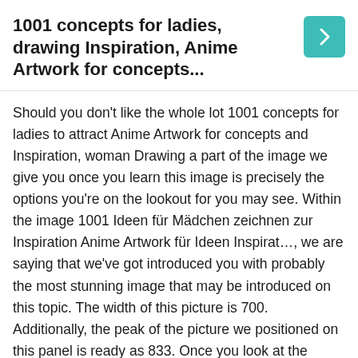1001 concepts for ladies, drawing Inspiration, Anime Artwork for concepts...
Should you don't like the whole lot 1001 concepts for ladies to attract Anime Artwork for concepts and Inspiration, woman Drawing a part of the image we give you once you learn this image is precisely the options you're on the lookout for you may see. Within the image 1001 Ideen für Mädchen zeichnen zur Inspiration Anime Artwork für Ideen Inspirat…, we are saying that we've got introduced you with probably the most stunning image that may be introduced on this topic. The width of this picture is 700. Additionally, the peak of the picture we positioned on this panel is ready as 833. Once you look at the Zeichnen panel that's introduced within the artwork drawings sketches pencil discipline, you will note that you do not want to have a look at some other account on this sub. We're within the Pinteres world on Artwork Drawings . All